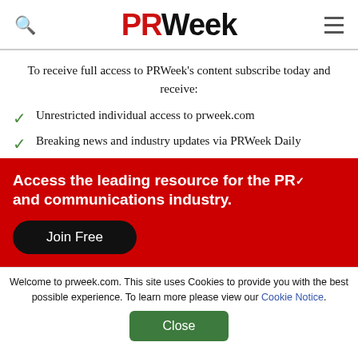PRWeek
To receive full access to PRWeek's content subscribe today and receive:
Unrestricted individual access to prweek.com
Breaking news and industry updates via PRWeek Daily
Access the leading resource for the PR and communications industry.
Join Free
Welcome to prweek.com. This site uses Cookies to provide you with the best possible experience. To learn more please view our Cookie Notice.
Close